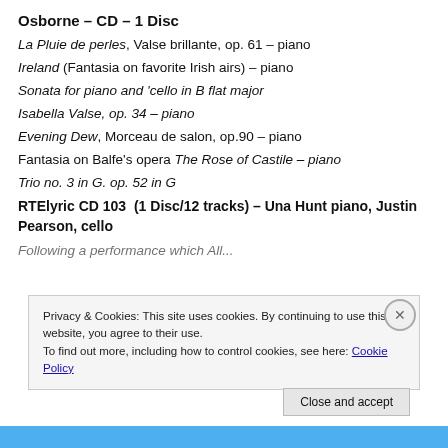Osborne – CD – 1 Disc
La Pluie de perles, Valse brillante, op. 61 – piano
Ireland (Fantasia on favorite Irish airs) – piano
Sonata for piano and 'cello in B flat major
Isabella Valse, op. 34 – piano
Evening Dew, Morceau de salon, op.90 – piano
Fantasia on Balfe's opera The Rose of Castile – piano
Trio no. 3 in G. op. 52 in G
RTElyric CD 103  (1 Disc/12 tracks) – Una Hunt piano, Justin Pearson, cello
Following a performance which All... (partially visible)
Privacy & Cookies: This site uses cookies. By continuing to use this website, you agree to their use.
To find out more, including how to control cookies, see here: Cookie Policy